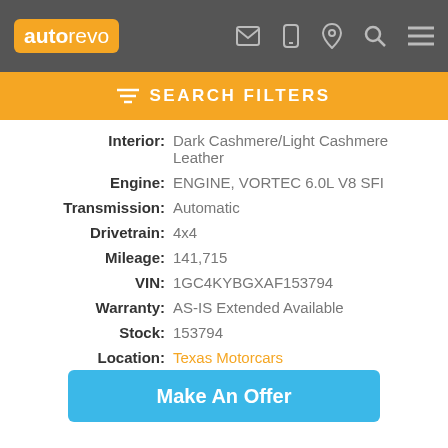autorevo — nav bar with logo and icons
SEARCH FILTERS
| Label | Value |
| --- | --- |
| Interior: | Dark Cashmere/Light Cashmere Leather |
| Engine: | ENGINE, VORTEC 6.0L V8 SFI |
| Transmission: | Automatic |
| Drivetrain: | 4x4 |
| Mileage: | 141,715 |
| VIN: | 1GC4KYBGXAF153794 |
| Warranty: | AS-IS Extended Available |
| Stock: | 153794 |
| Location: | Texas Motorcars |
Make An Offer